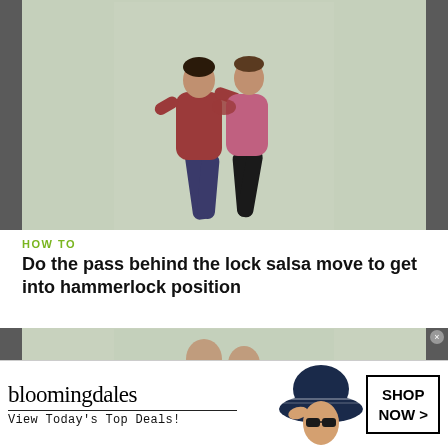[Figure (photo): Two people dancing salsa, man in red shirt and jeans with woman in pink and black, against a light green-grey background, flanked by dark grey side panels]
HOW TO
Do the pass behind the lock salsa move to get into hammerlock position
[Figure (photo): Two people in a salsa dancing embrace, partially visible, against a light green-grey background with dark grey side panels]
[Figure (infographic): Bloomingdales advertisement banner: logo text 'bloomingdales', tagline 'View Today's Top Deals!', model with hat, and 'SHOP NOW >' button]